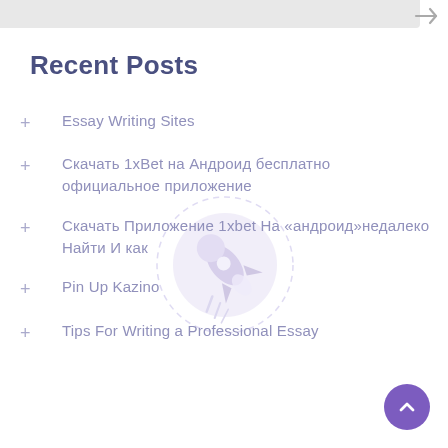Recent Posts
+ Essay Writing Sites
+ Скачать 1xBet на Андроид бесплатно официальное приложение
+ Скачать Приложение 1xbet На «андроид»недалеко Найти И как
+ Pin Up Kazino
+ Tips For Writing a Professional Essay